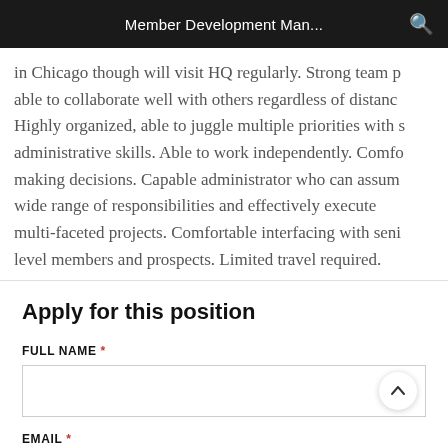Member Development Man...
in Chicago though will visit HQ regularly. Strong team p... able to collaborate well with others regardless of distanc... Highly organized, able to juggle multiple priorities with s... administrative skills. Able to work independently. Comfo... making decisions. Capable administrator who can assum... wide range of responsibilities and effectively execute multi-faceted projects. Comfortable interfacing with seni... level members and prospects. Limited travel required.
Apply for this position
FULL NAME *
EMAIL *